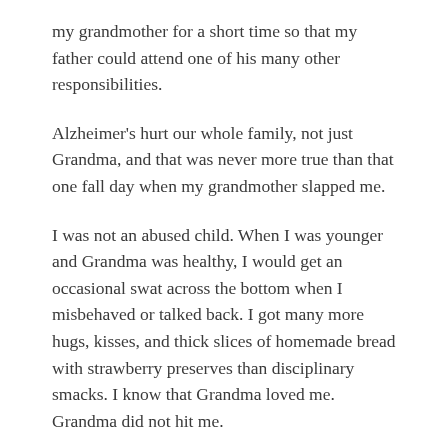my grandmother for a short time so that my father could attend one of his many other responsibilities.
Alzheimer's hurt our whole family, not just Grandma, and that was never more true than that one fall day when my grandmother slapped me.
I was not an abused child. When I was younger and Grandma was healthy, I would get an occasional swat across the bottom when I misbehaved or talked back. I got many more hugs, kisses, and thick slices of homemade bread with strawberry preserves than disciplinary smacks. I know that Grandma loved me. Grandma did not hit me.
Alzheimer's did.